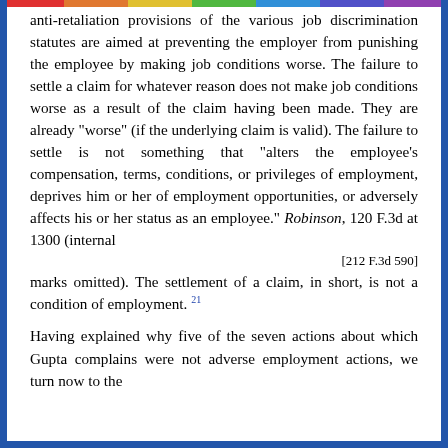anti-retaliation provisions of the various job discrimination statutes are aimed at preventing the employer from punishing the employee by making job conditions worse. The failure to settle a claim for whatever reason does not make job conditions worse as a result of the claim having been made. They are already "worse" (if the underlying claim is valid). The failure to settle is not something that "alters the employee's compensation, terms, conditions, or privileges of employment, deprives him or her of employment opportunities, or adversely affects his or her status as an employee." Robinson, 120 F.3d at 1300 (internal
[212 F.3d 590]
marks omitted). The settlement of a claim, in short, is not a condition of employment. 21
Having explained why five of the seven actions about which Gupta complains were not adverse employment actions, we turn now to the